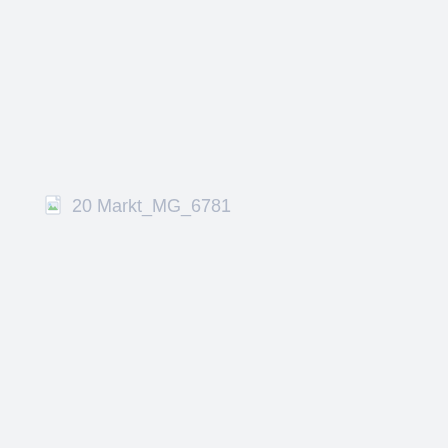[Figure (photo): Broken image placeholder showing the filename '20 Markt_MG_6781' with a broken image icon on a light grey background.]